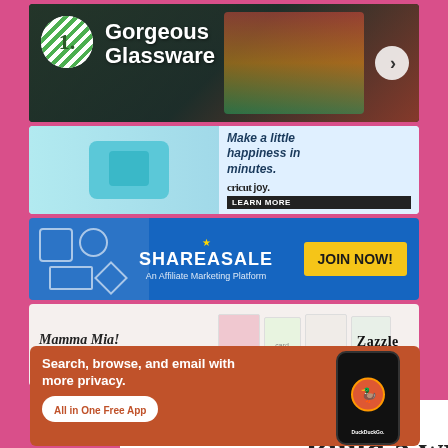[Figure (infographic): Gorgeous Glassware banner ad with a green striped number 1 badge, cocktail glasses, dark background, and a right arrow button]
[Figure (infographic): Cricut Joy banner ad: 'Make a little happiness in minutes.' with LEARN MORE button on light blue background with craft machine image]
[Figure (infographic): ShareASale banner ad: 'An Affiliate Marketing Platform' with star icon and JOIN NOW! yellow button on blue background]
[Figure (infographic): Zazzle banner ad: 'Mamma Mia! Show her how she shines with a custom card >' with greeting card images and Zazzle MADE WITH LOVE logo]
Advertisements
[Figure (infographic): White panel showing partial text 'Build a writing' in large serif font, with a close (X) button on the right]
Advertisements
[Figure (infographic): DuckDuckGo banner ad on orange background: 'Search, browse, and email with more privacy. All in One Free App' with phone mockup showing DuckDuckGo logo]